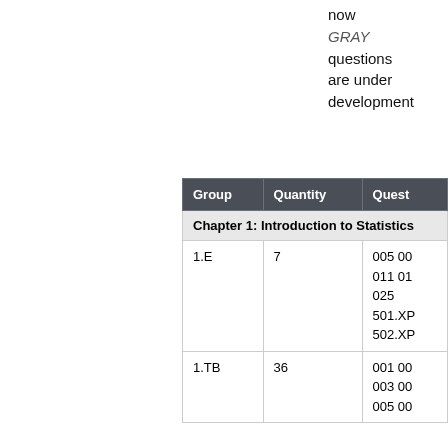now
GRAY
questions
are under
development
| Group | Quantity | Quest... |
| --- | --- | --- |
| Chapter 1: Introduction to Statistics |  |  |
| 1.E | 7 | 005 00...
011 01...
025
501.XP...
502.XP... |
| 1.TB | 36 | 001 00...
003 00...
005 00... |